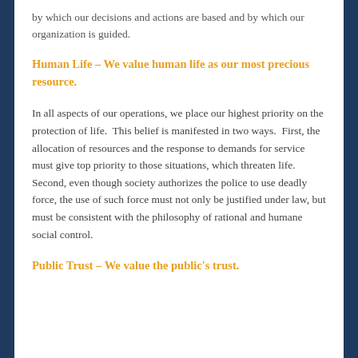by which our decisions and actions are based and by which our organization is guided.
Human Life – We value human life as our most precious resource.
In all aspects of our operations, we place our highest priority on the protection of life.  This belief is manifested in two ways.  First, the allocation of resources and the response to demands for service must give top priority to those situations, which threaten life.  Second, even though society authorizes the police to use deadly force, the use of such force must not only be justified under law, but must be consistent with the philosophy of rational and humane social control.
Public Trust – We value the public's trust.